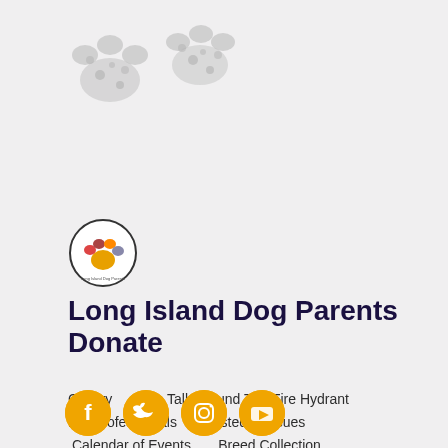[Figure (photo): Two dalmatian or spotted dog paw prints photographed from above on a light background, positioned at the top of the page]
[Figure (logo): Circular logo with a colorful paw print icon in orange, yellow, red, and purple, with text around the border reading 'Long Island Dog Parents']
Long Island Dog Parents Donate
Gallery      The Talk Around The Fire Hydrant  Pet Professionals        Trusted Rescues  Calendar of Events         Breed Collection  Dog-Friendly Eats & Drinks
[Figure (infographic): Four circular orange social media icons: Facebook (f), Twitter (bird), Instagram (camera), YouTube (play button)]